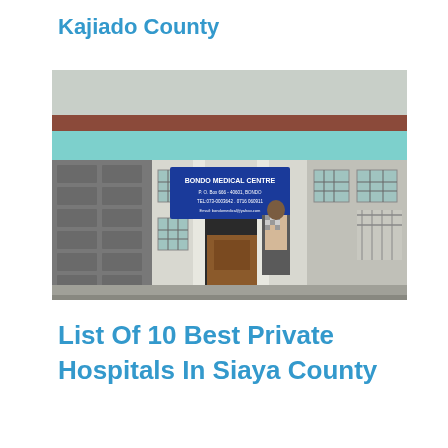Kajiado County
[Figure (photo): Exterior entrance of Bondo Medical Centre. A blue sign reads 'BONDO MEDICAL CENTRE' with address and contact details. A person in a checkered shirt is near the entrance. The building has stone walls, barred windows, and a teal/turquoise awning.]
List Of 10 Best Private Hospitals In Siaya County